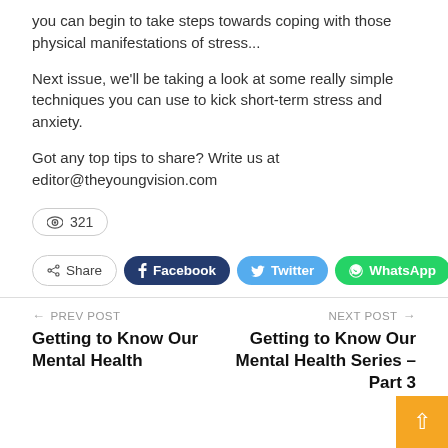you can begin to take steps towards coping with those physical manifestations of stress...
Next issue, we'll be taking a look at some really simple techniques you can use to kick short-term stress and anxiety.
Got any top tips to share? Write us at editor@theyoungvision.com
321 views
Share | Facebook | Twitter | WhatsApp | +
← PREV POST
Getting to Know Our Mental Health
NEXT POST →
Getting to Know Our Mental Health Series – Part 3